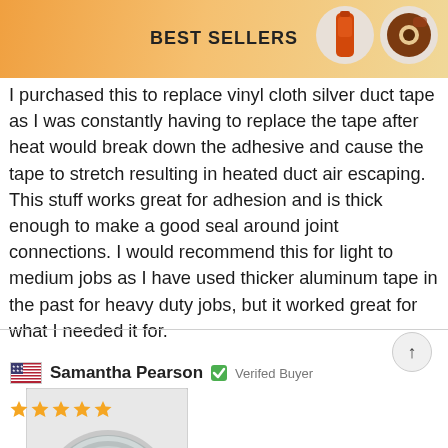BEST SELLERS
I purchased this to replace vinyl cloth silver duct tape as I was constantly having to replace the tape after heat would break down the adhesive and cause the tape to stretch resulting in heated duct air escaping. This stuff works great for adhesion and is thick enough to make a good seal around joint connections. I would recommend this for light to medium jobs as I have used thicker aluminum tape in the past for heavy duty jobs, but it worked great for what I needed it for.
[Figure (photo): A roll of silver aluminum tape on a white/gray background]
Samantha Pearson  ✓ Verifed Buyer